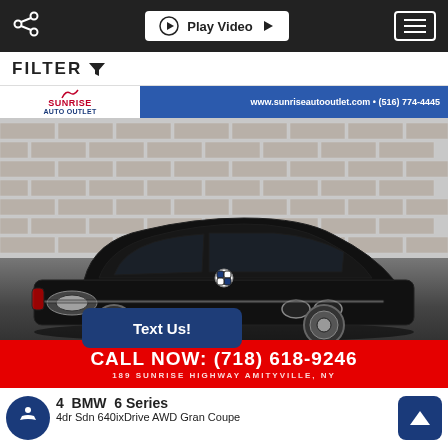Play Video  [navigation bar with share and hamburger menu]
FILTER
[Figure (photo): Black BMW 6 Series Gran Coupe photographed against a white brick wall background in a dealership showroom. Dealer banner at top shows Sunrise Auto Outlet logo and www.sunriseautooutlet.com • (516) 774-4445]
CALL NOW: (718) 618-9246
189 SUNRISE HIGHWAY AMITYVILLE, NY
Text Us!
4  BMW  6 Series
4dr Sdn 640ixDrive AWD Gran Coupe